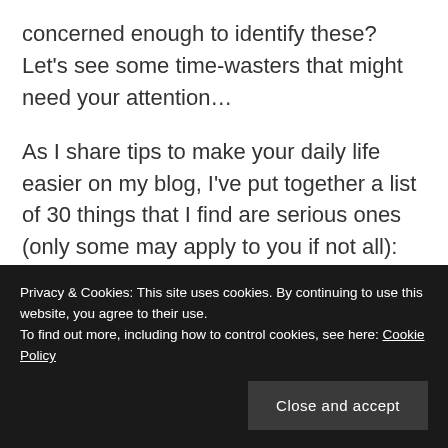concerned enough to identify these? Let's see some time-wasters that might need your attention…
As I share tips to make your daily life easier on my blog, I've put together a list of 30 things that I find are serious ones (only some may apply to you if not all):
Privacy & Cookies: This site uses cookies. By continuing to use this website, you agree to their use. To find out more, including how to control cookies, see here: Cookie Policy
Close and accept